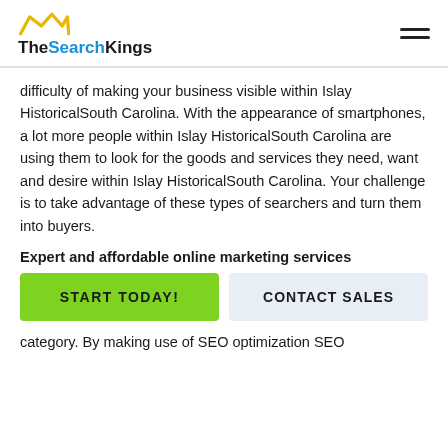TheSearchKings
difficulty of making your business visible within Islay HistoricalSouth Carolina. With the appearance of smartphones, a lot more people within Islay HistoricalSouth Carolina are using them to look for the goods and services they need, want and desire within Islay HistoricalSouth Carolina. Your challenge is to take advantage of these types of searchers and turn them into buyers.
Expert and affordable online marketing services
Start Today!
Contact Sales
category. By making use of SEO optimization SEO